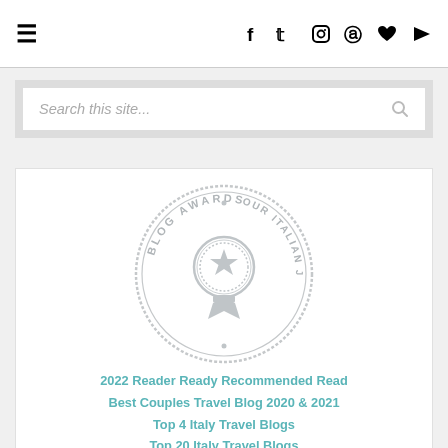≡  f  𝕥  IG  𝕡  ♥  ▶
[Figure (other): Search bar with placeholder text 'Search this site...' and a search icon]
[Figure (logo): Blog Awards circular stamp logo with 'BLOG AWARDS • OUR ITALIAN JOURNEY' text around a medal/ribbon icon in the center]
2022 Reader Ready Recommended Read
Best Couples Travel Blog 2020 & 2021
Top 4 Italy Travel Blogs
Top 20 Italy Travel Blogs
Liebster Nomination 2018